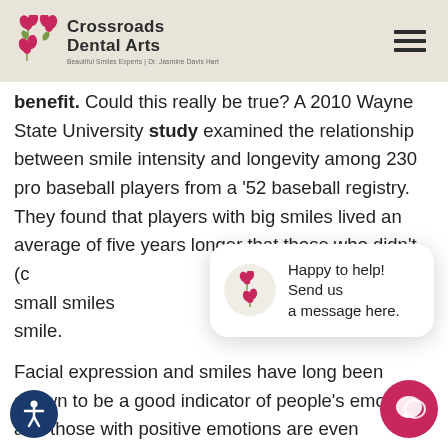Crossroads Dental Arts — Beautiful Smiles Experts | Dr. Jasmine Davis Hart
benefit. Could this really be true? A 2010 Wayne State University study examined the relationship between smile intensity and longevity among 230 pro baseball players from a '52 baseball registry. They found that players with big smiles lived an average of five years longer that those who didn't (c... small smiles... smile.
Facial expression and smiles have long been shown to be a good indicator of people's emo... and those with positive emotions are even...
[Figure (other): Chat popup with Crossroads Dental Arts flower logo icon and text 'Happy to help! Send us a message here.']
[Figure (other): Accessibility button icon (person figure) in dark blue circle, bottom left]
[Figure (other): Chat FAB button (speech bubble icon) in pink/magenta circle, bottom right]